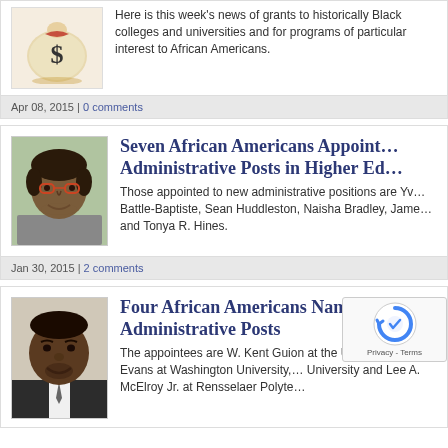[Figure (illustration): Dollar sign money bag illustration with red accents]
Here is this week's news of grants to historically Black colleges and universities and for programs of particular interest to African Americans.
Apr 08, 2015 | 0 comments
[Figure (photo): Photo of an African American woman with short curly hair and glasses, smiling]
Seven African Americans Appointed to Administrative Posts in Higher Education
Those appointed to new administrative positions are Yvette Battle-Baptiste, Sean Huddleston, Naisha Bradley, James and Tonya R. Hines.
Jan 30, 2015 | 2 comments
[Figure (photo): Photo of an African American man in a suit, smiling]
Four African Americans Named to Administrative Posts
The appointees are W. Kent Guion at the University, Meredith Evans at Washington University, and Lee A. McElroy Jr. at Rensselaer Polytechnic.